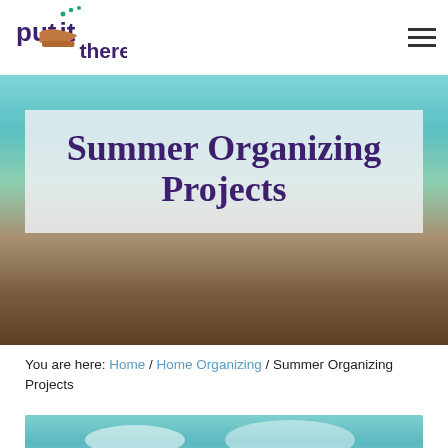[Figure (logo): Put It There logo with colorful text and a hand/shovel graphic]
Summer Organizing Projects
You are here: Home / Home Organizing / Summer Organizing Projects
[Figure (photo): Sky and clouds photo used as bottom image strip background]